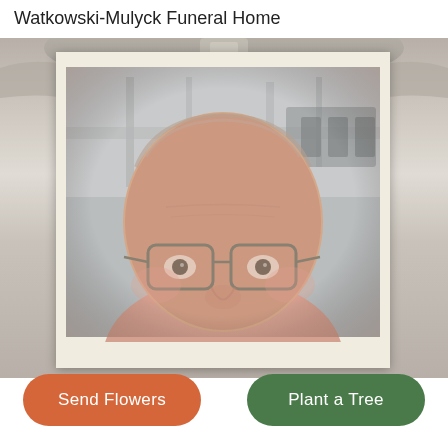Watkowski-Mulyck Funeral Home
[Figure (photo): A polaroid-style framed portrait photograph of an elderly man with glasses, with a metallic/silver decorative background behind the frame. The man has sparse gray/white hair and is wearing wire-rimmed rectangular glasses. The photo has a warm vintage tone.]
Send Flowers
Plant a Tree